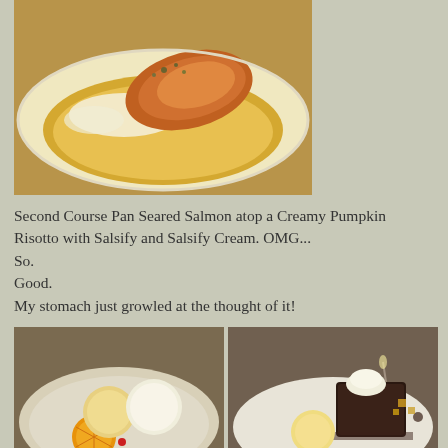[Figure (photo): Photo of pan seared salmon atop creamy pumpkin risotto on a white plate]
Second Course Pan Seared Salmon atop a Creamy Pumpkin Risotto with Salsify and Salsify Cream. OMG... So.
Good.
My stomach just growled at the thought of it!
[Figure (photo): Photo of tangerine and vanilla yogurt sorbets with fresh tangerine and earl grey shortbread on a plate]
[Figure (photo): Photo of chocolate cake with ice cream scoop and garnishes on a white plate]
Third Course was a Tangerine and Vanilla Yogurt Sorbets with fresh Tangerine and Earl Grey Shortbread, and a